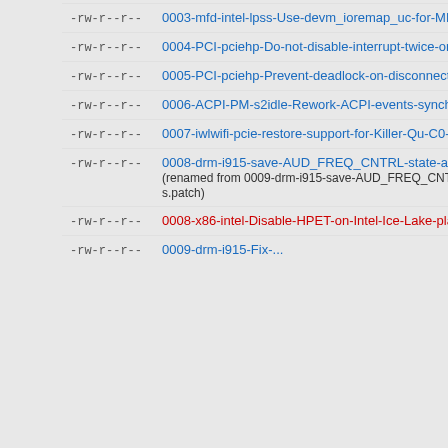-rw-r--r-- 0003-mfd-intel-lpss-Use-devm_ioremap_uc-for-MMIO.patch 4|
-rw-r--r-- 0004-PCI-pciehp-Do-not-disable-interrupt-twice-on-suspend.patch 4|
-rw-r--r-- 0005-PCI-pciehp-Prevent-deadlock-on-disconnect.patch 4|
-rw-r--r-- 0006-ACPI-PM-s2idle-Rework-ACPI-events-synchronization.patch 4|
-rw-r--r-- 0007-iwlwifi-pcie-restore-support-for-Killer-Qu-C0-NICs.patch 4|
-rw-r--r-- 0008-drm-i915-save-AUD_FREQ_CNTRL-state-at-audio-domain-s.patch (renamed from 0009-drm-i915-save-AUD_FREQ_CNTRL-state-at-audio-domain-s.patch) 4|
-rw-r--r-- 0008-x86-intel-Disable-HPET-on-Intel-Ice-Lake-platforms.patch 38|
-rw-r--r-- 0009-drm-i915-Fix-...